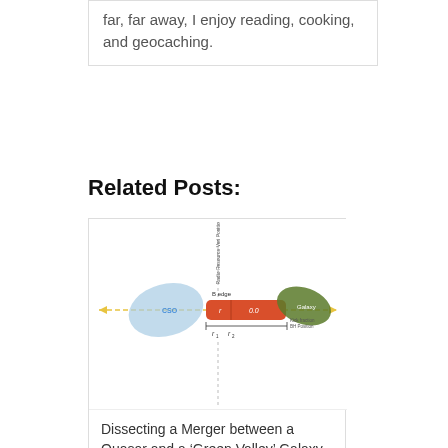far, far away, I enjoy reading, cooking, and geocaching.
Related Posts:
[Figure (schematic): Diagram showing a merger between a CSO (blue elliptical blob on the left), a red elongated cylinder in the center with labels r1, r2, B edge, and a green elliptical Galaxy shape on the right, connected by dashed yellow arrows indicating direction. Labels include 'Radio Resource Veri Position', 'CSO', 'B edge', 'r1', 'r2', 'Galaxy', 'Kick fraction BH Position'.]
Dissecting a Merger between a Quasar and a ‘Green Valley’ Galaxy